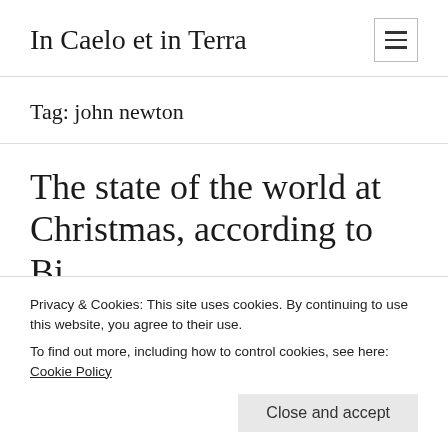In Caelo et in Terra
Tag: john newton
The state of the world at Christmas, according to Bi...
Privacy & Cookies: This site uses cookies. By continuing to use this website, you agree to their use.
To find out more, including how to control cookies, see here: Cookie Policy
Close and accept